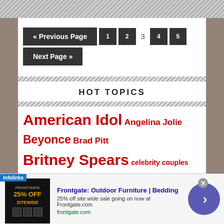« Previous Page  1  2  3  4  5
Next Page »
HOT TOPICS
American Idol  Angelina Jolie  Beyonce  Brad Pitt  Britney Spears  celebrity couples  Charlie  en  Chris Brown  dating  Glee  Heidi Montag  Jennifer
[Figure (screenshot): Advertisement banner: Frontgate Outdoor Furniture and Bedding, 25% off sitewide sale, frontgate.com]